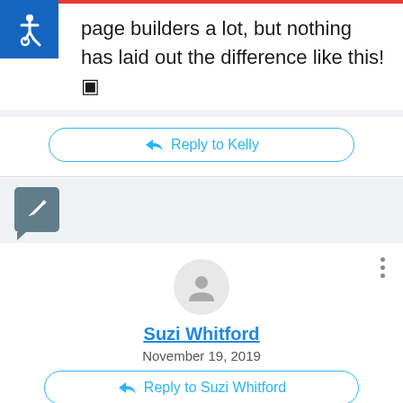page builders a lot, but nothing has laid out the difference like this! 🙂
[Figure (illustration): Blue accessibility wheelchair icon badge in top-left corner]
[Figure (illustration): Reply to Kelly button with arrow icon, rounded border in blue]
[Figure (illustration): Gray speech bubble edit icon on left side]
[Figure (illustration): Generic user avatar circle (gray background with person outline)]
Suzi Whitford
November 19, 2019
Aww, so happy to help, thank you Kelly!!
[Figure (illustration): Reply to Suzi Whitford button with arrow icon, rounded border in blue]